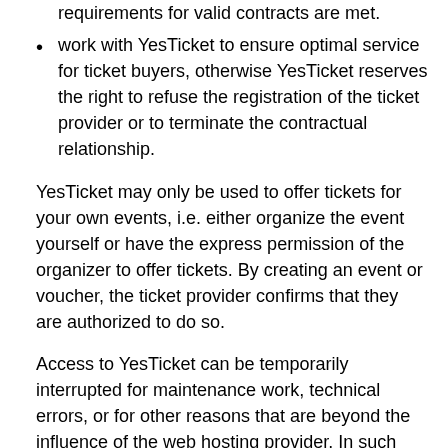requirements for valid contracts are met.
work with YesTicket to ensure optimal service for ticket buyers, otherwise YesTicket reserves the right to refuse the registration of the ticket provider or to terminate the contractual relationship.
YesTicket may only be used to offer tickets for your own events, i.e. either organize the event yourself or have the express permission of the organizer to offer tickets. By creating an event or voucher, the ticket provider confirms that they are authorized to do so.
Access to YesTicket can be temporarily interrupted for maintenance work, technical errors, or for other reasons that are beyond the influence of the web hosting provider. In such cases, YesTicket will endeavor to rectify the problem immediately, but in no case guarantees complete and uninterrupted availability of its service at all times.
As a new ticket provider, you are here to do the